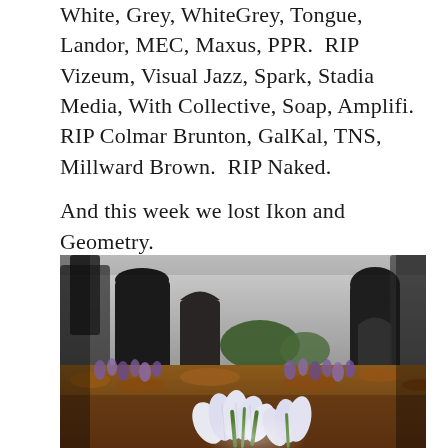White, Grey, WhiteGrey, Tongue, Landor, MEC, Maxus, PPR.  RIP Vizeum, Visual Jazz, Spark, Stadia Media, With Collective, Soap, Amplifi.  RIP Colmar Brunton, GalKal, TNS, Millward Brown.  RIP Naked.

And this week we lost Ikon and Geometry.
[Figure (photo): A cemetery scene with tall dark gravestones in the background, a cluster of white and purple crocus flowers blooming in the foreground against fallen autumn leaves and grass.]